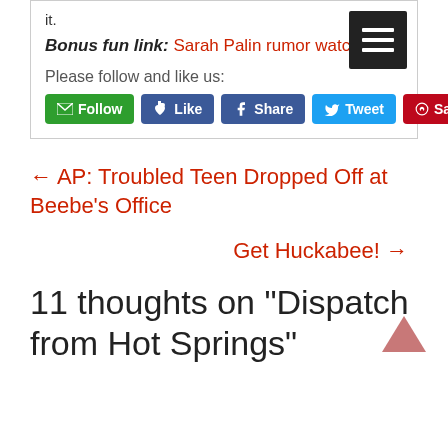it.
Bonus fun link: Sarah Palin rumor watch.
Please follow and like us:
[Figure (other): Social media buttons: Follow (green), Like (Facebook blue), Share (Facebook blue), Tweet (Twitter blue), Save (Pinterest red); and a hamburger menu icon (black square with 3 white lines)]
← AP: Troubled Teen Dropped Off at Beebe's Office
Get Huckabee! →
11 thoughts on “Dispatch from Hot Springs”